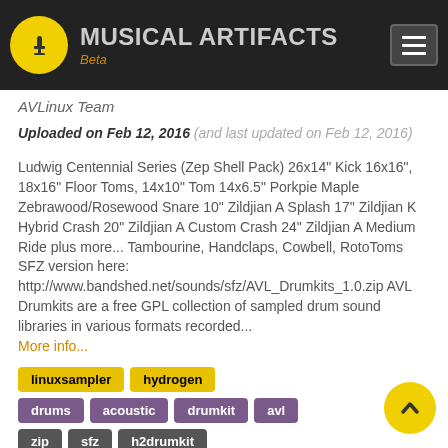MUSICAL ARTIFACTS Beta
AVLinux Team
Uploaded on Feb 12, 2016 (and last updated on Feb 12, 2016)
Ludwig Centennial Series (Zep Shell Pack) 26x14" Kick 16x16", 18x16" Floor Toms, 14x10" Tom 14x6.5" Porkpie Maple Zebrawood/Rosewood Snare 10" Zildjian A Splash 17" Zildjian K Hybrid Crash 20" Zildjian A Custom Crash 24" Zildjian A Medium Ride plus more... Tambourine, Handclaps, Cowbell, RotoToms SFZ version here: http://www.bandshed.net/sounds/sfz/AVL_Drumkits_1.0.zip AVL Drumkits are a free GPL collection of sampled drum sound libraries in various formats recorded...
More info...
linuxsampler
hydrogen
drums
acoustic
drumkit
avl
zip
sfz
h2drumkit